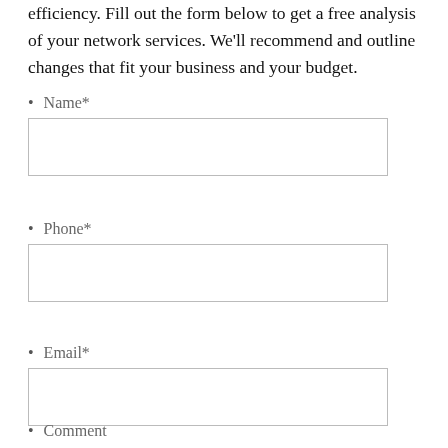efficiency. Fill out the form below to get a free analysis of your network services. We'll recommend and outline changes that fit your business and your budget.
Name*
Phone*
Email*
Comment